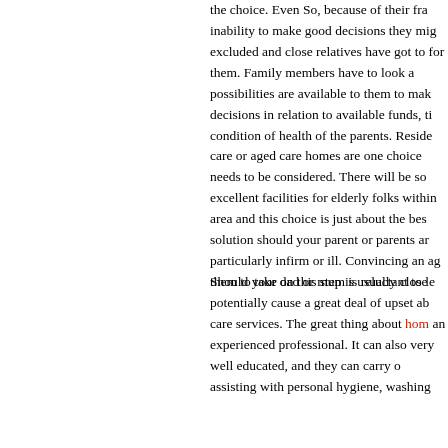the choice. Even So, because of their fra inability to make good decisions they mig excluded and close relatives have got to for them. Family members have to look a possibilities are available to them to mak decisions in relation to available funds, ti condition of health of the parents. Reside care or aged care homes are one choice needs to be considered. There will be so excellent facilities for elderly folks within area and this choice is just about the bes solution should your parent or parents ar particularly infirm or ill. Convincing an ag them to take on this step is usually close
Should your dad or mum is reluctant to le potentially cause a great deal of upset ab care services. The great thing about hom an experienced professional. It can also very well educated, and they can carry o assisting with personal hygiene, washing